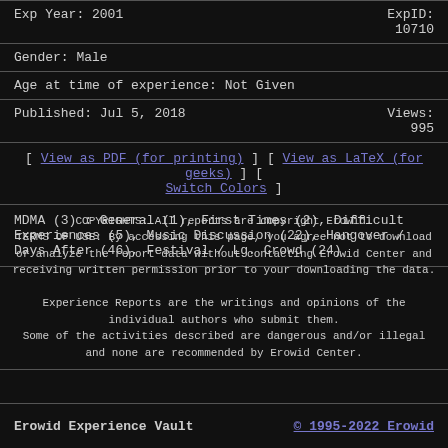Exp Year: 2001 | ExpID: 10710
Gender: Male
Age at time of experience: Not Given
Published: Jul 5, 2018 | Views: 995
[ View as PDF (for printing) ] [ View as LaTeX (for geeks) ] [ Switch Colors ]
MDMA (3) : General (1), First Times (2), Difficult Experiences (5), Music Discussion (22), Hangover / Days After (46), Festival / Lg. Crowd (24)
COPYRIGHTS: All reports are copyright Erowid.
TERMS OF USE: By accessing this page, you agree not to download or analyze the report data without contacting Erowid Center and receiving written permission prior to your downloading the data.

Experience Reports are the writings and opinions of the individual authors who submit them.
Some of the activities described are dangerous and/or illegal and none are recommended by Erowid Center.
Erowid Experience Vault | © 1995-2022 Erowid